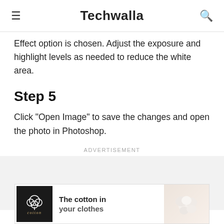≡  Techwalla  🔍
Effect option is chosen. Adjust the exposure and highlight levels as needed to reduce the white area.
Step 5
Click "Open Image" to save the changes and open the photo in Photoshop.
Advertisement
[Figure (other): Advertisement banner for cotton: The cotton in your clothes]
[Figure (other): Cotton flower image on the right side of the ad banner]